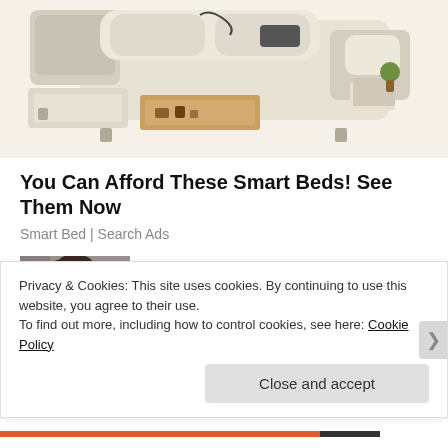[Figure (photo): Photo of a smart bed with storage drawers, side tables, and various accessories, shown in cream/beige leather upholstery from an elevated angle.]
You Can Afford These Smart Beds! See Them Now
Smart Bed | Search Ads
[Figure (photo): Thumbnail photo of a woman's face/head, partially visible, with dark hair against a gray background.]
The 5 Books To Read To Transform Your Life in 2022
Privacy & Cookies: This site uses cookies. By continuing to use this website, you agree to their use.
To find out more, including how to control cookies, see here: Cookie Policy
Close and accept